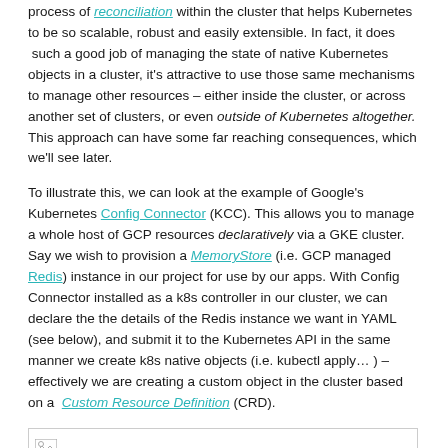process of reconciliation within the cluster that helps Kubernetes to be so scalable, robust and easily extensible. In fact, it does such a good job of managing the state of native Kubernetes objects in a cluster, it's attractive to use those same mechanisms to manage other resources – either inside the cluster, or across another set of clusters, or even outside of Kubernetes altogether. This approach can have some far reaching consequences, which we'll see later.
To illustrate this, we can look at the example of Google's Kubernetes Config Connector (KCC). This allows you to manage a whole host of GCP resources declaratively via a GKE cluster. Say we wish to provision a MemoryStore (i.e. GCP managed Redis) instance in our project for use by our apps. With Config Connector installed as a k8s controller in our cluster, we can declare the the details of the Redis instance we want in YAML (see below), and submit it to the Kubernetes API in the same manner we create k8s native objects (i.e. kubectl apply… ) – effectively we are creating a custom object in the cluster based on a Custom Resource Definition (CRD).
[Figure (other): Placeholder image icon in a bordered box at the bottom of the page]